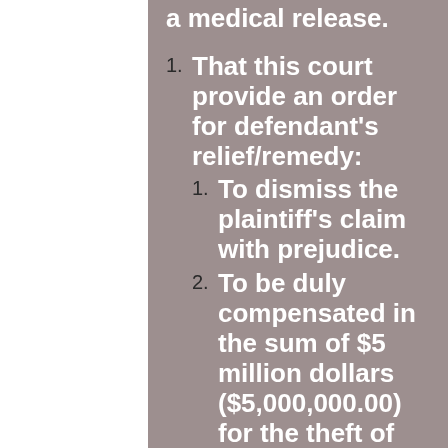a medical release.
1. That this court provide an order for defendant's relief/remedy:
1. To dismiss the plaintiff's claim with prejudice.
2. To be duly compensated in the sum of $5 million dollars ($5,000,000.00) for the theft of